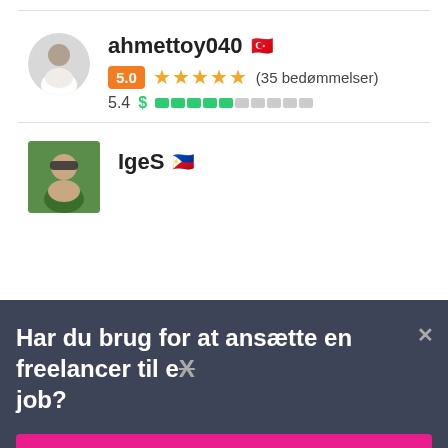[Figure (photo): Circular avatar photo of user ahmettoy040, showing a man in white shirt]
ahmettoy040 🇹🇷
5.0 ★★★★★ (35 bedømmelser)
5.4 $ ████▒▒▒▒▒▒
[Figure (photo): Square avatar photo of user IgeS, showing a person wearing sunglasses outdoors]
IgeS 🇵🇭
Har du brug for at ansætte en freelancer til et job?
Opret et projekt